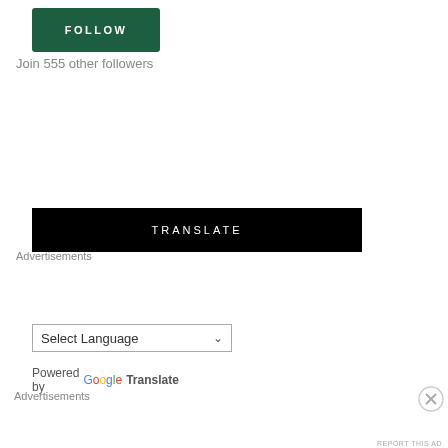[Figure (other): Green FOLLOW button]
Join 555 other followers
[Figure (other): Black TRANSLATE banner]
[Figure (other): Select Language dropdown with Google Translate powered-by text]
Advertisements
[Figure (other): WooCommerce advertisement banner with purple gradient background]
Advertisements
[Figure (other): DuckDuckGo advertisement: Search, browse, and email with more privacy. All in One Free App]